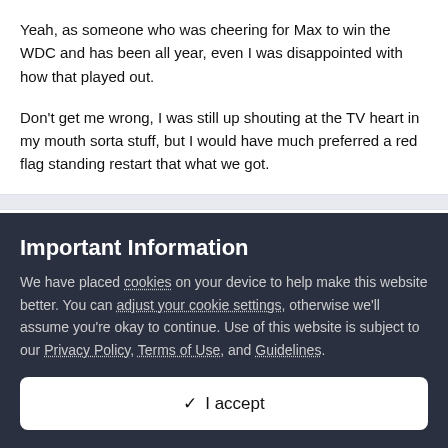Yeah, as someone who was cheering for Max to win the WDC and has been all year, even I was disappointed with how that played out.
Don't get me wrong, I was still up shouting at the TV heart in my mouth sorta stuff, but I would have much preferred a red flag standing restart that what we got.
Dudley
Posted December 13, 2021
Important Information
We have placed cookies on your device to help make this website better. You can adjust your cookie settings, otherwise we'll assume you're okay to continue. Use of this website is subject to our Privacy Policy, Terms of Use, and Guidelines.
✓  I accept